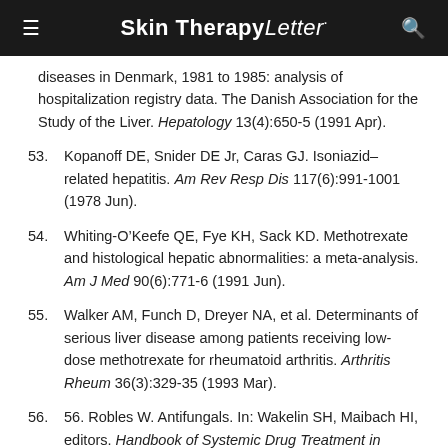Skin Therapy Letter
diseases in Denmark, 1981 to 1985: analysis of hospitalization registry data. The Danish Association for the Study of the Liver. Hepatology 13(4):650-5 (1991 Apr).
53. Kopanoff DE, Snider DE Jr, Caras GJ. Isoniazid-related hepatitis. Am Rev Resp Dis 117(6):991-1001 (1978 Jun).
54. Whiting-O'Keefe QE, Fye KH, Sack KD. Methotrexate and histological hepatic abnormalities: a meta-analysis. Am J Med 90(6):771-6 (1991 Jun).
55. Walker AM, Funch D, Dreyer NA, et al. Determinants of serious liver disease among patients receiving low-dose methotrexate for rheumatoid arthritis. Arthritis Rheum 36(3):329-35 (1993 Mar).
56. 56. Robles W. Antifungals. In: Wakelin SH, Maibach HI, editors. Handbook of Systemic Drug Treatment in